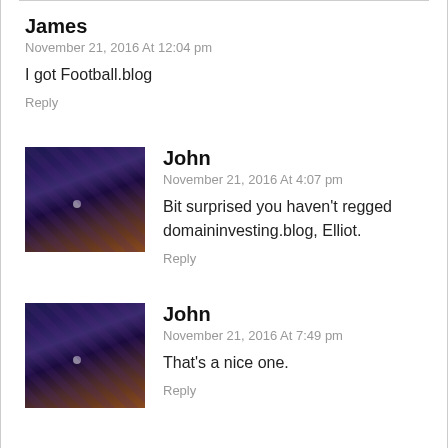James
November 21, 2016 At 12:04 pm
I got Football.blog
Reply
[Figure (photo): Dark aerial city night photo used as avatar for John]
John
November 21, 2016 At 4:07 pm
Bit surprised you haven't regged domaininvesting.blog, Elliot.
Reply
[Figure (photo): Dark aerial city night photo used as avatar for John]
John
November 21, 2016 At 7:49 pm
That's a nice one.
Reply